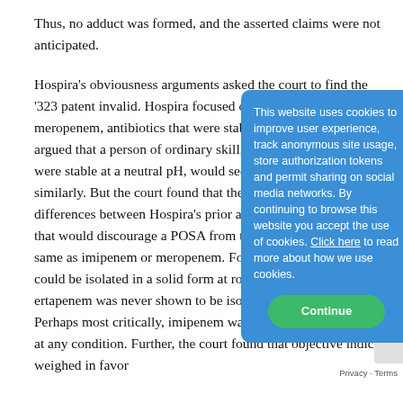Thus, no adduct was formed, and the asserted claims were not anticipated.
Hospira's obviousness arguments asked the court to find the '323 patent invalid. Hospira focused on imipenem and meropenem, antibiotics that were stable at a neutral pH. Hospira argued that a person of ordinary skill, knowing that those drugs were stable at a neutral pH, would seek to stabilize ertapenem similarly. But the court found that there were significant differences between Hospira's prior art drugs and ertapenem that would discourage a POSA from treating ertapenem the same as imipenem or meropenem. For example, imipenem could be isolated in a solid form at room temperature, whereas ertapenem was never shown to be isolated in a solid form. Perhaps most critically, imipenem was unable to form an adduct at any condition. Further, the court found that objective indicia weighed in favor
[Figure (screenshot): Cookie consent overlay dialog with blue background. Text reads: 'This website uses cookies to improve user experience, track anonymous site usage, store authorization tokens and permit sharing on social media networks. By continuing to browse this website you accept the use of cookies. Click here to read more about how we use cookies.' Green 'Continue' button at bottom.]